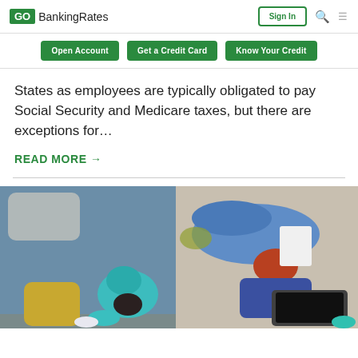GOBankingRates | Sign In
Open Account | Get a Credit Card | Know Your Credit
States as employees are typically obligated to pay Social Security and Medicare taxes, but there are exceptions for…
READ MORE →
[Figure (photo): Overhead view of two women lying on the floor, one in teal and one in blue, looking at a laptop]